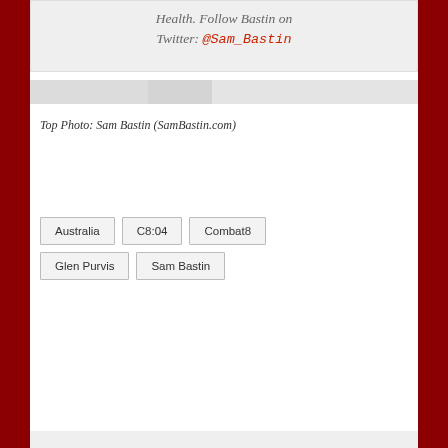Health. Follow Bastin on Twitter: @Sam_Bastin
[Figure (other): Social share bar with buttons]
Top Photo: Sam Bastin (SamBastin.com)
Australia
C8:04
Combat8
Glen Purvis
Sam Bastin